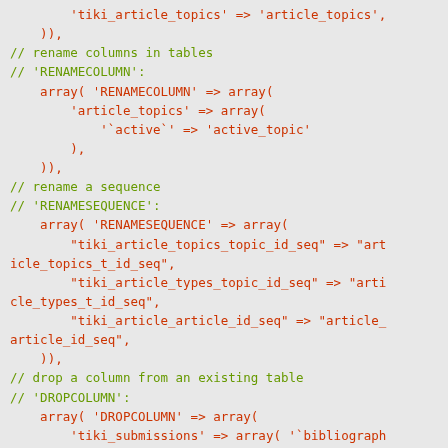Code block showing PHP array configuration for database migration operations including renaming tables, columns, sequences, and dropping columns.